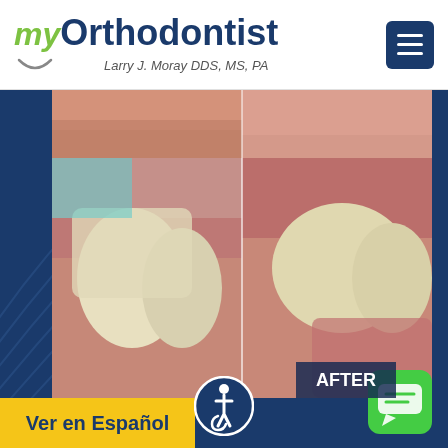myOrthodontist - Larry J. Moray DDS, MS, PA
[Figure (photo): Split before/after dental photo strip showing close-up of teeth/gums at top of dark blue section]
[Figure (photo): Split before/after dental photo showing teeth from inside mouth angle, with AFTER label overlay at bottom right]
Ver en Español
AFTER